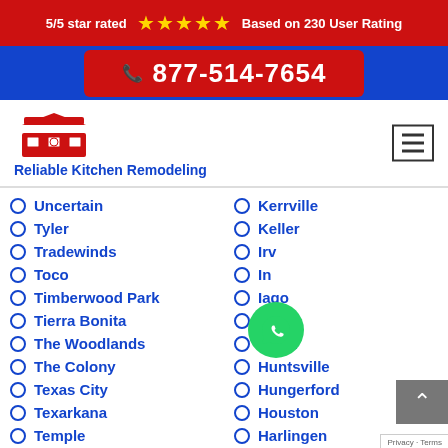5/5 star rated ★★★★★ Based on 230 User Rating
877-514-7654
Reliable Kitchen Remodeling
Uncertain
Tyler
Tradewinds
Toco
Timberwood Park
Tierra Bonita
The Woodlands
The Colony
Texas City
Texarkana
Temple
Kerrville
Keller
Irving
Ingram
Iago
Hutto
Hurst
Huntsville
Hungerford
Houston
Harlingen